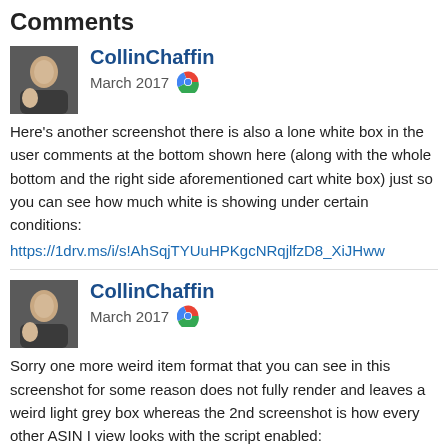Comments
CollinChaffin
March 2017
Here's another screenshot there is also a lone white box in the user comments at the bottom shown here (along with the whole bottom and the right side aforementioned cart white box) just so you can see how much white is showing under certain conditions:
https://1drv.ms/i/s!AhSqjTYUuHPKgcNRqjlfzD8_XiJHww
CollinChaffin
March 2017
Sorry one more weird item format that you can see in this screenshot for some reason does not fully render and leaves a weird light grey box whereas the 2nd screenshot is how every other ASIN I view looks with the script enabled:
Problem item layout (note the "add to cart" button area):